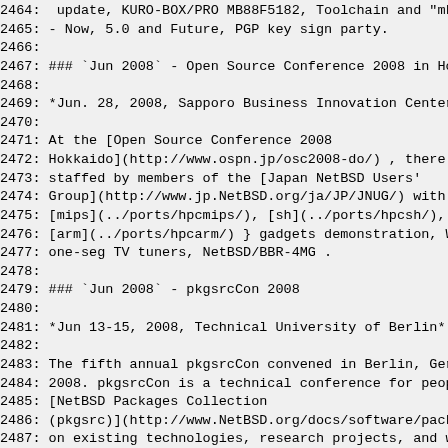2464:  update, KURO-BOX/PRO MB88F5182, Toolchain and "mk
2465: - Now, 5.0 and Future, PGP key sign party.
2466:
2467: ### `Jun 2008` - Open Source Conference 2008 in Ho
2468:
2469: *Jun. 28, 2008, Sapporo Business Innovation Center
2470:
2471: At the [Open Source Conference 2008
2472: Hokkaido](http://www.ospn.jp/osc2008-do/) , there
2473: staffed by members of the [Japan NetBSD Users'
2474: Group](http://www.jp.NetBSD.org/ja/JP/JNUG/) with
2475: [mips](../ports/hpcmips/), [sh](../ports/hpcsh/),
2476: [arm](../ports/hpcarm/) } gadgets demonstration, W
2477: one-seg TV tuners, NetBSD/BBR-4MG .
2478:
2479: ### `Jun 2008` - pkgsrcCon 2008
2480:
2481: *Jun 13-15, 2008, Technical University of Berlin*
2482:
2483: The fifth annual pkgsrcCon convened in Berlin, Ger
2484: 2008. pkgsrcCon is a technical conference for peop
2485: [NetBSD Packages Collection
2486: (pkgsrc)](http://www.NetBSD.org/docs/software/pack
2487: on existing technologies, research projects, and w
2488: pkgsrc infrastructure.
2489:
2490: More information about pkgsrcCon 2008 is available
2491: [](http://www.pkgsrccon.org/2008/).
2492:
2493: ### `May 2008` - BSDCan 2008